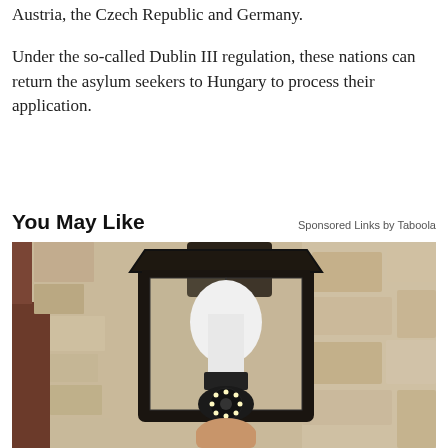Austria, the Czech Republic and Germany.
Under the so-called Dublin III regulation, these nations can return the asylum seekers to Hungary to process their application.
You May Like
Sponsored Links by Taboola
[Figure (photo): A hand inserting a white security camera bulb into an outdoor lantern-style light fixture mounted on a beige stone wall.]